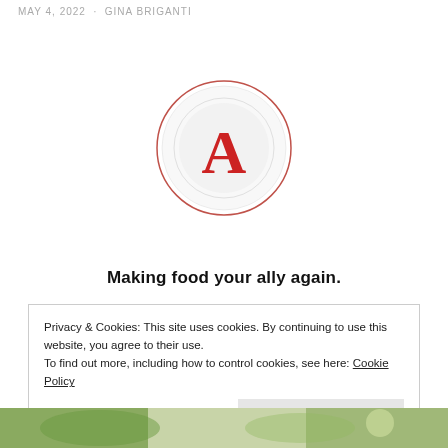MAY 4, 2022  ·  GINA BRIGANTI
[Figure (logo): Circular logo with a plate outline and a large red letter A in the center, with a thin red circle border]
Making food your ally again.
Privacy & Cookies: This site uses cookies. By continuing to use this website, you agree to their use.
To find out more, including how to control cookies, see here: Cookie Policy
Close and accept
[Figure (photo): Partial photo at bottom of page showing vegetables and food items]